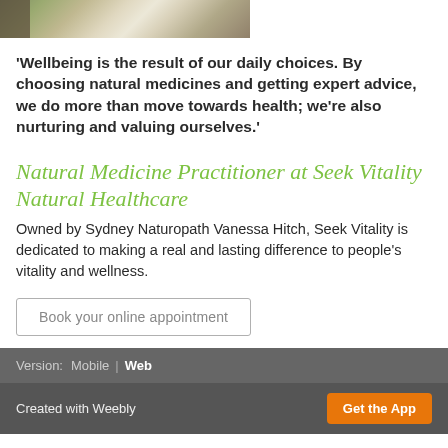[Figure (photo): Partial photo of a woman, cropped at top of page]
'Wellbeing is the result of our daily choices. By choosing natural medicines and getting expert advice, we do more than move towards health; we're also nurturing and valuing ourselves.'
Natural Medicine Practitioner at Seek Vitality Natural Healthcare
Owned by Sydney Naturopath Vanessa Hitch, Seek Vitality is dedicated to making a real and lasting difference to people's vitality and wellness.
Book your online appointment
Version: Mobile | Web
Created with Weebly  Get the App